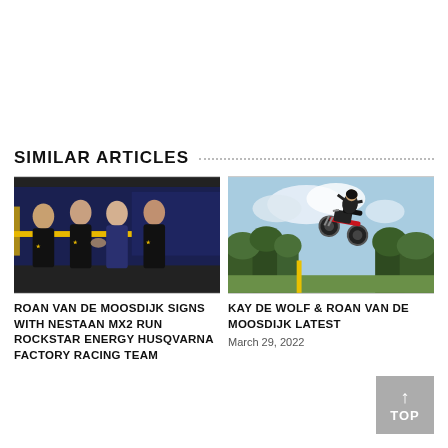SIMILAR ARTICLES
[Figure (photo): Group photo of four people in black racing team gear standing in front of a truck/van]
ROAN VAN DE MOOSDIJK SIGNS WITH NESTAAN MX2 RUN ROCKSTAR ENERGY HUSQVARNA FACTORY RACING TEAM
[Figure (photo): Motocross rider doing a jump with trees and cloudy sky in background]
KAY DE WOLF & ROAN VAN DE MOOSDIJK LATEST
March 29, 2022